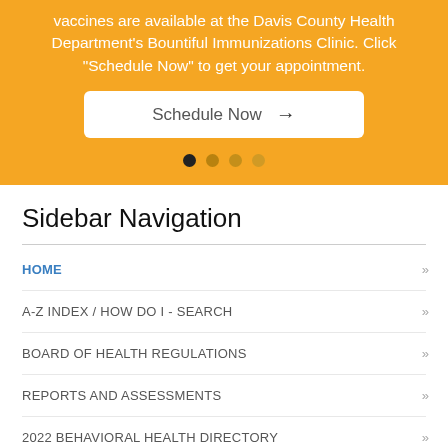vaccines are available at the Davis County Health Department's Bountiful Immunizations Clinic. Click "Schedule Now" to get your appointment.
[Figure (screenshot): Schedule Now button with arrow on white rounded rectangle background]
[Figure (other): Four carousel indicator dots: one black, three orange shades]
Sidebar Navigation
HOME
A-Z INDEX / HOW DO I - SEARCH
BOARD OF HEALTH REGULATIONS
REPORTS AND ASSESSMENTS
2022 BEHAVIORAL HEALTH DIRECTORY